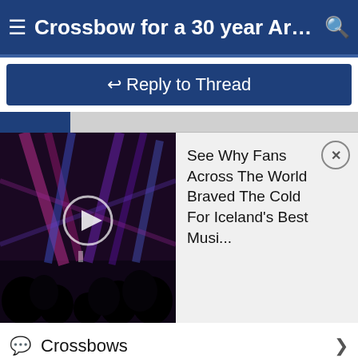Crossbow for a 30 year Archery ...
Reply to Thread
[Figure (screenshot): Concert video thumbnail with play button overlay, showing purple and pink stage lighting over silhouetted crowd]
See Why Fans Across The World Braved The Cold For Iceland's Best Musi...
Crossbows
Today's Posts